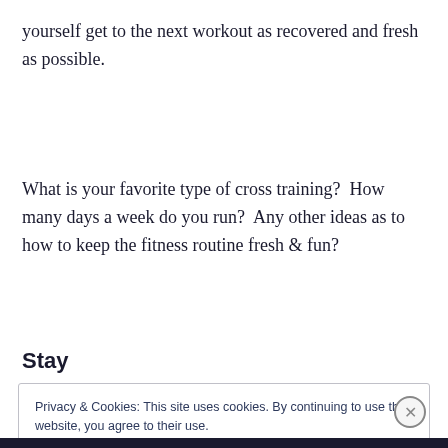yourself get to the next workout as recovered and fresh as possible.
What is your favorite type of cross training?  How many days a week do you run?  Any other ideas as to how to keep the fitness routine fresh & fun?
Stay
Privacy & Cookies: This site uses cookies. By continuing to use this website, you agree to their use.
To find out more, including how to control cookies, see here: Cookie Policy
Close and accept